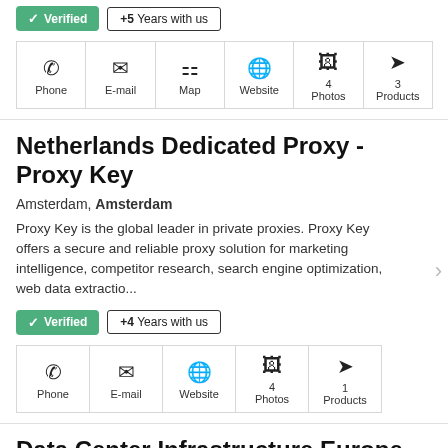Verified  +5 Years with us
[Figure (infographic): Contact icons row: Phone, E-mail, Map, Website, 4 Photos, 3 Products]
Netherlands Dedicated Proxy - Proxy Key
Amsterdam, Amsterdam
Proxy Key is the global leader in private proxies. Proxy Key offers a secure and reliable proxy solution for marketing intelligence, competitor research, search engine optimization, web data extractio...
Verified  +4 Years with us
[Figure (infographic): Contact icons row: Phone, E-mail, Website, 4 Photos, 1 Products]
Data Center Infrastructure Europe
Valkweg 30, Shutter #0124, Haarlemmermeer, 1118 EM, Netherlands Antilles, More...